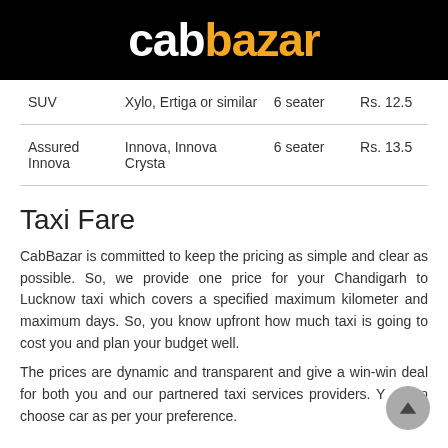cabbazar
| SUV | Xylo, Ertiga or similar | 6 seater | Rs. 12.5 |
| Assured Innova | Innova, Innova Crysta | 6 seater | Rs. 13.5 |
Taxi Fare
CabBazar is committed to keep the pricing as simple and clear as possible. So, we provide one price for your Chandigarh to Lucknow taxi which covers a specified maximum kilometer and maximum days. So, you know upfront how much taxi is going to cost you and plan your budget well.
The prices are dynamic and transparent and give a win-win deal for both you and our partnered taxi services providers. You can choose car as per your preference.